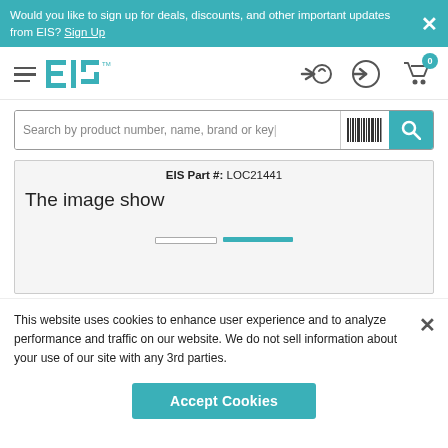Would you like to sign up for deals, discounts, and other important updates from EIS? Sign Up
[Figure (logo): EIS logo with hamburger menu icon]
Search by product number, name, brand or key...
EIS Part #: LOC21441
The image show
This website uses cookies to enhance user experience and to analyze performance and traffic on our website. We do not sell information about your use of our site with any 3rd parties.
Accept Cookies